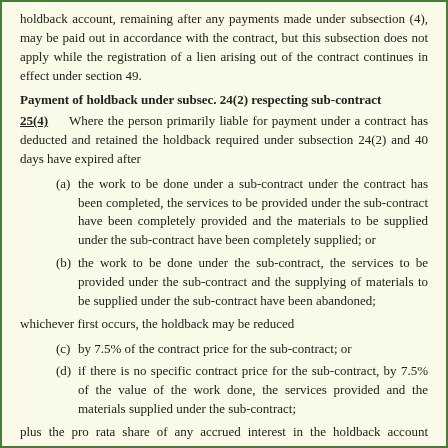holdback account, remaining after any payments made under subsection (4), may be paid out in accordance with the contract, but this subsection does not apply while the registration of a lien arising out of the contract continues in effect under section 49.
Payment of holdback under subsec. 24(2) respecting sub-contract
25(4) Where the person primarily liable for payment under a contract has deducted and retained the holdback required under subsection 24(2) and 40 days have expired after
(a) the work to be done under a sub-contract under the contract has been completed, the services to be provided under the sub-contract have been completely provided and the materials to be supplied under the sub-contract have been completely supplied; or
(b) the work to be done under the sub-contract, the services to be provided under the sub-contract and the supplying of materials to be supplied under the sub-contract have been abandoned;
whichever first occurs, the holdback may be reduced
(c) by 7.5% of the contract price for the sub-contract; or
(d) if there is no specific contract price for the sub-contract, by 7.5% of the value of the work done, the services provided and the materials supplied under the sub-contract;
plus the pro rata share of any accrued interest in the holdback account applicable to the sub-contract, but this subsection does not apply while